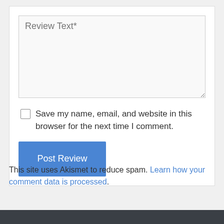Review Text*
Save my name, email, and website in this browser for the next time I comment.
Post Review
This site uses Akismet to reduce spam. Learn how your comment data is processed.